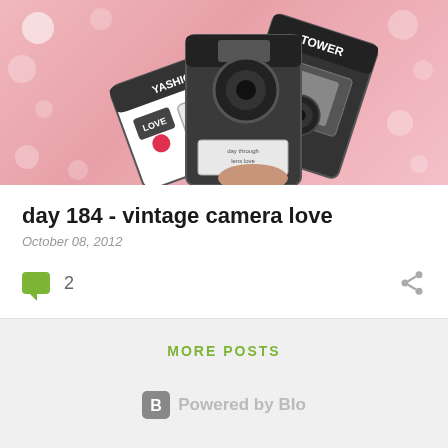[Figure (photo): A hand holding several illustrated vintage camera cards/notebooks (Yashica, Tower, Love) against a pink polka-dot background]
day 184 - vintage camera love
October 08, 2012
2
MORE POSTS
Powered by Blogger